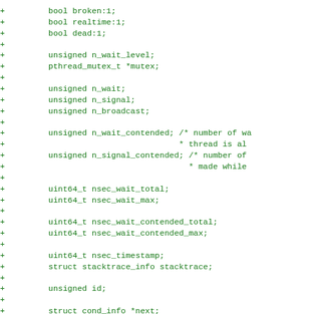+         bool broken:1;
+         bool realtime:1;
+         bool dead:1;
+
+         unsigned n_wait_level;
+         pthread_mutex_t *mutex;
+
+         unsigned n_wait;
+         unsigned n_signal;
+         unsigned n_broadcast;
+
+         unsigned n_wait_contended; /* number of wa
+                                    * thread is al
+         unsigned n_signal_contended; /* number of
+                                      * made while
+
+         uint64_t nsec_wait_total;
+         uint64_t nsec_wait_max;
+
+         uint64_t nsec_wait_contended_total;
+         uint64_t nsec_wait_contended_max;
+
+         uint64_t nsec_timestamp;
+         struct stacktrace_info stacktrace;
+
+         unsigned id;
+
+         struct cond_info *next;
+};
+